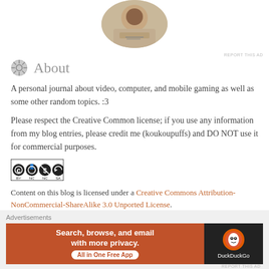[Figure (photo): Circular cropped photo of a person writing/drawing at a desk, visible from the chest up, wearing a beige/tan outfit]
About
A personal journal about video, computer, and mobile gaming as well as some other random topics. :3
Please respect the Creative Common license; if you use any information from my blog entries, please credit me (koukoupuffs) and DO NOT use it for commercial purposes.
[Figure (logo): Creative Commons BY NC SA license badge]
Content on this blog is licensed under a Creative Commons Attribution-NonCommercial-ShareAlike 3.0 Unported License.
Advertisements
[Figure (screenshot): DuckDuckGo advertisement banner: 'Search, browse, and email with more privacy. All in One Free App' with DuckDuckGo logo on dark background]